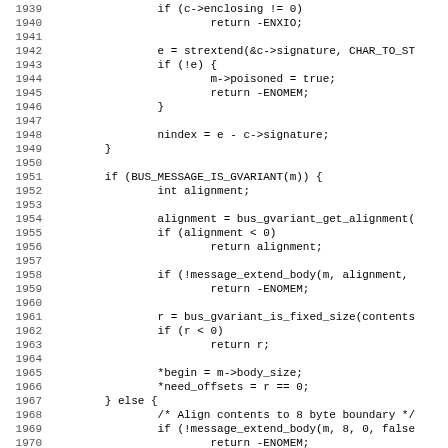Source code listing, lines 1939-1970, C code for message handling with GVariant alignment and body extension logic.